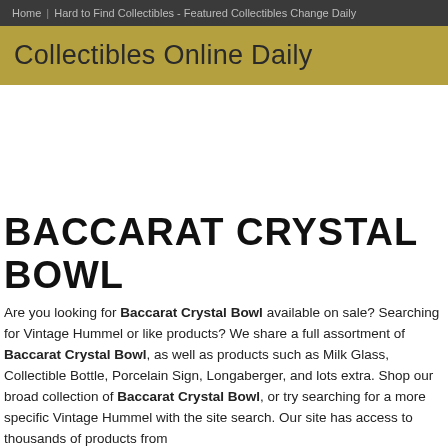Home | Hard to Find Collectibles - Featured Collectibles Change Daily
Collectibles Online Daily
BACCARAT CRYSTAL BOWL
Are you looking for Baccarat Crystal Bowl available on sale? Searching for Vintage Hummel or like products? We share a full assortment of Baccarat Crystal Bowl, as well as products such as Milk Glass, Collectible Bottle, Porcelain Sign, Longaberger, and lots extra. Shop our broad collection of Baccarat Crystal Bowl, or try searching for a more specific Vintage Hummel with the site search. Our site has access to thousands of products from